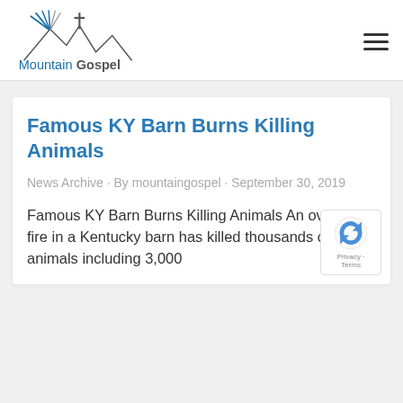MountainGospel
Famous KY Barn Burns Killing Animals
News Archive · By mountaingospel · September 30, 2019
Famous KY Barn Burns Killing Animals An overnight fire in a Kentucky barn has killed thousands of animals including 3,000